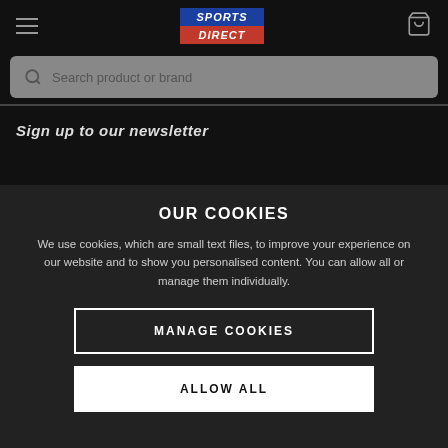Sports Direct - header navigation with hamburger menu, logo, and bag icon
Search product or brand
Sign up to our newsletter
OUR COOKIES
We use cookies, which are small text files, to improve your experience on our website and to show you personalised content. You can allow all or manage them individually.
MANAGE COOKIES
ALLOW ALL